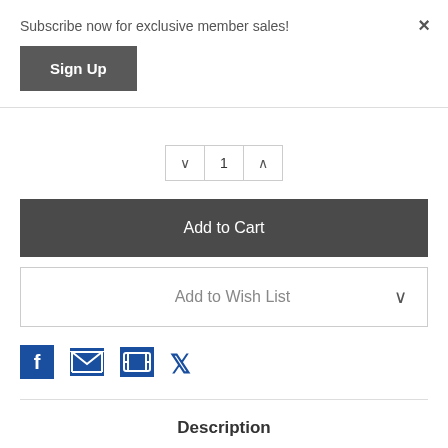Subscribe now for exclusive member sales!
Sign Up
1
Add to Cart
Add to Wish List
[Figure (infographic): Social sharing icons: Facebook, Email, Print, Twitter]
Description